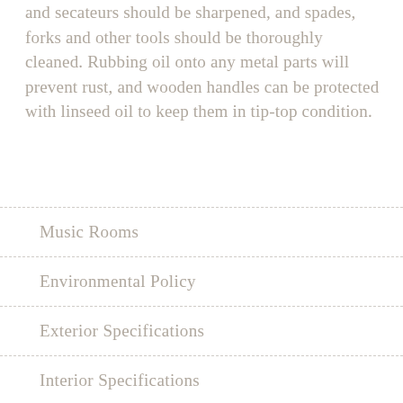and secateurs should be sharpened, and spades, forks and other tools should be thoroughly cleaned. Rubbing oil onto any metal parts will prevent rust, and wooden handles can be protected with linseed oil to keep them in tip-top condition.
Music Rooms
Environmental Policy
Exterior Specifications
Interior Specifications